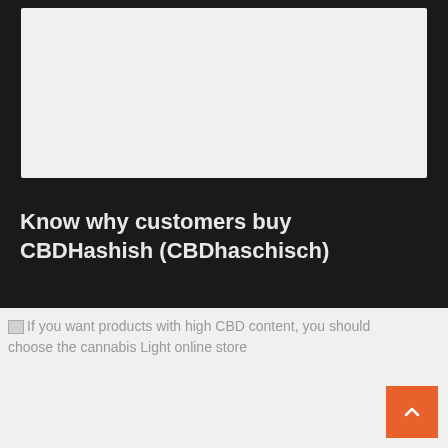[Figure (photo): Top image placeholder area with light gray background on dark page]
Know why customers buy CBDHashish (CBDhaschisch)
[Figure (photo): Broken image with alt text: If you want products with high CBD content, you should choose the cannabis Light online store]